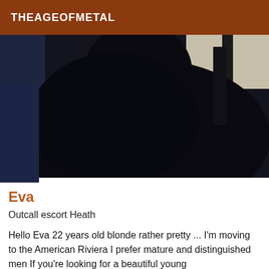THEAGEOFMETAL
[Figure (photo): A close-up dark photograph showing a person wearing a black outfit, mostly obscured in darkness with some blue tones on the left and a light background visible at the top right.]
Eva
Outcall escort Heath
Hello Eva 22 years old blonde rather pretty ... I'm moving to the American Riviera I prefer mature and distinguished men If you're looking for a beautiful young